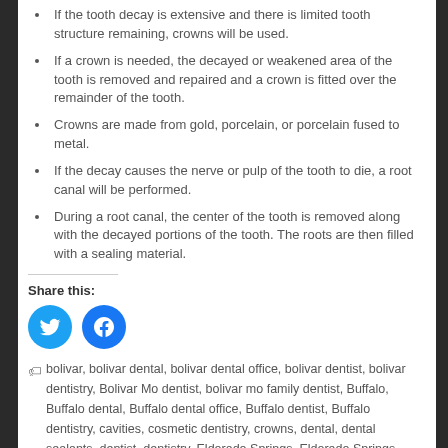If the tooth decay is extensive and there is limited tooth structure remaining, crowns will be used.
If a crown is needed, the decayed or weakened area of the tooth is removed and repaired and a crown is fitted over the remainder of the tooth.
Crowns are made from gold, porcelain, or porcelain fused to metal.
If the decay causes the nerve or pulp of the tooth to die, a root canal will be performed.
During a root canal, the center of the tooth is removed along with the decayed portions of the tooth. The roots are then filled with a sealing material.
Share this:
[Figure (other): Twitter and Facebook social share buttons]
bolivar, bolivar dental, bolivar dental office, bolivar dentist, bolivar dentistry, Bolivar Mo dentist, bolivar mo family dentist, Buffalo, Buffalo dental, Buffalo dental office, Buffalo dentist, Buffalo dentistry, cavities, cosmetic dentistry, crowns, dental, dental sealants, dentist, dentistry, Eldorado Springs, Eldorado Springs dental, Eldorado Springs dental office, Eldorado